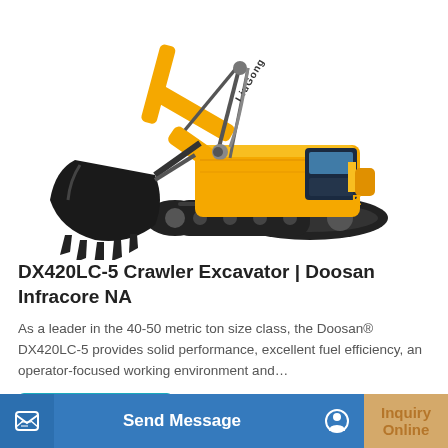[Figure (photo): A yellow LiuGong crawler excavator with a large black bucket, shown on a white background from a side-front angle.]
DX420LC-5 Crawler Excavator | Doosan Infracore NA
As a leader in the 40-50 metric ton size class, the Doosan® DX420LC-5 provides solid performance, excellent fuel efficiency, an operator-focused working environment and...
Learn More
Send Message
Inquiry Online